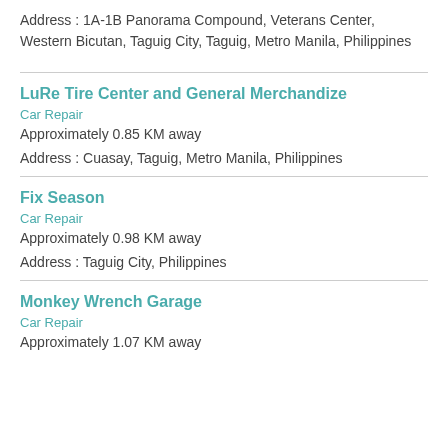Address : 1A-1B Panorama Compound, Veterans Center, Western Bicutan, Taguig City, Taguig, Metro Manila, Philippines
LuRe Tire Center and General Merchandize
Car Repair
Approximately 0.85 KM away
Address : Cuasay, Taguig, Metro Manila, Philippines
Fix Season
Car Repair
Approximately 0.98 KM away
Address : Taguig City, Philippines
Monkey Wrench Garage
Car Repair
Approximately 1.07 KM away